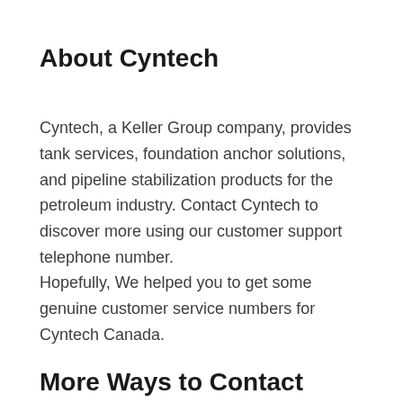About Cyntech
Cyntech, a Keller Group company, provides tank services, foundation anchor solutions, and pipeline stabilization products for the petroleum industry. Contact Cyntech to discover more using our customer support telephone number.
Hopefully, We helped you to get some genuine customer service numbers for Cyntech Canada.
More Ways to Contact